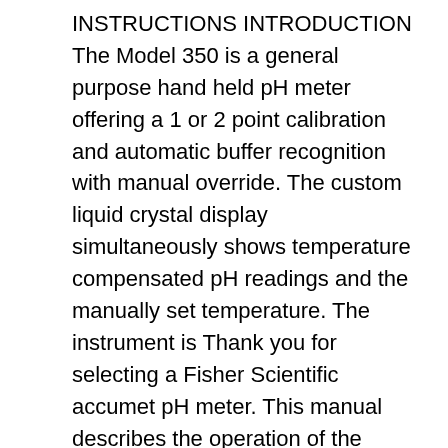INSTRUCTIONS INTRODUCTION The Model 350 is a general purpose hand held pH meter offering a 1 or 2 point calibration and automatic buffer recognition with manual override. The custom liquid crystal display simultaneously shows temperature compensated pH readings and the manually set temperature. The instrument is Thank you for selecting a Fisher Scientific accumet pH meter. This manual describes the operation of the accumet XL15 meter. The state-of-the art meter that you have purchased runs on a Windows CE platform and has a similar framework of a pocket PC (or "Palm Pilot").